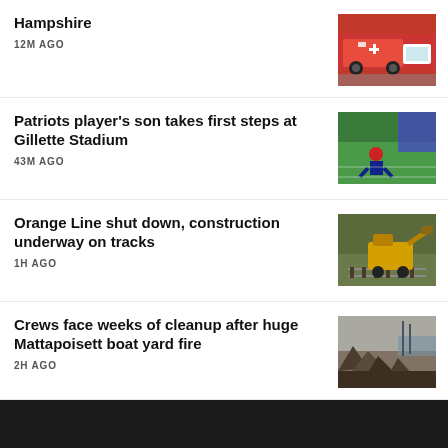Hampshire
12M AGO
[Figure (photo): Red fire truck / ambulance moving fast on road]
Patriots player's son takes first steps at Gillette Stadium
43M AGO
[Figure (photo): Child sitting on green football field in stadium]
Orange Line shut down, construction underway on tracks
1H AGO
[Figure (photo): Yellow construction machine on train tracks]
Crews face weeks of cleanup after huge Mattapoisett boat yard fire
2H AGO
[Figure (photo): Burned debris at boat yard fire aftermath]